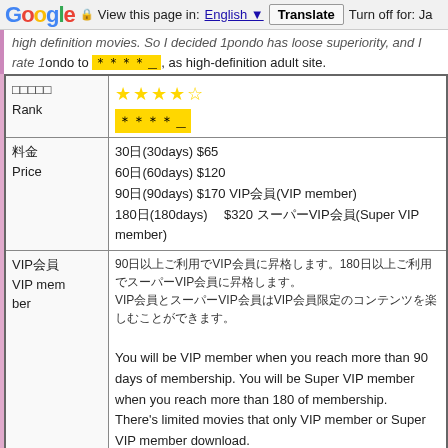Google | View this page in: English | Translate | Turn off for: Ja
high definition movies. So I decided 1pondo has loose superiority, and I rate 1pondo to ****, as high-definition adult site.
| Label | Value |
| --- | --- |
| □□□□□ / Rank | ★★★★☆ / ****_ |
| 料金 / Price | 30日(30days) $65
60日(60days) $120
90日(90days) $170 VIP会員(VIP member)
180日(180days) $320 スーパーVIP会員(Super VIP member) |
| VIP会員 / VIP member | 90日以上ご利用でVIP会員に昇格します。180日以上ご利用でスーパーVIP会員に昇格します。VIP会員とスーパーVIP会員はVIP会員限定のコンテンツを楽しむことができます。
You will be VIP member when you reach more than 90 days of membership. You will be Super VIP member when you reach more than 180 days of membership.
There's limited movies that only VIP member or Super VIP member can download. |
| クレジットカード / Creditcar | VISA / MasterCard / JCB / Diners Club |